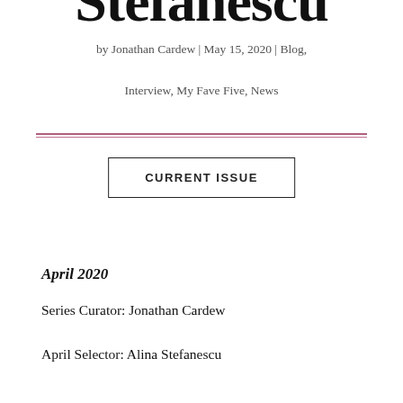Stefanescu
by Jonathan Cardew | May 15, 2020 | Blog, Interview, My Fave Five, News
CURRENT ISSUE
April 2020
Series Curator: Jonathan Cardew
April Selector: Alina Stefanescu